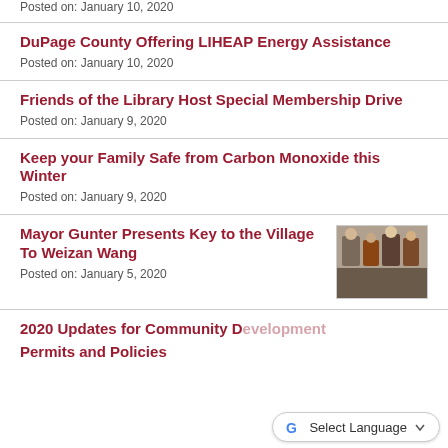Posted on: January 10, 2020
DuPage County Offering LIHEAP Energy Assistance
Posted on: January 10, 2020
Friends of the Library Host Special Membership Drive
Posted on: January 9, 2020
Keep your Family Safe from Carbon Monoxide this Winter
Posted on: January 9, 2020
Mayor Gunter Presents Key to the Village To Weizan Wang
[Figure (photo): Group photo of people at an event]
Posted on: January 5, 2020
2020 Updates for Community Development Permits and Policies